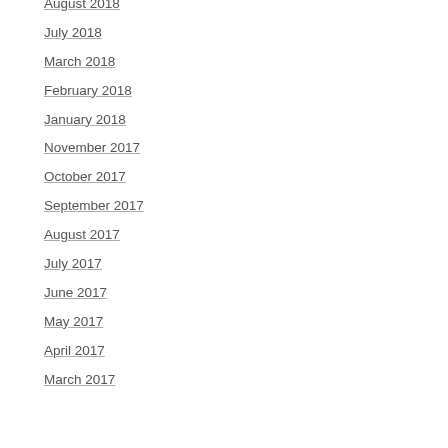August 2018
July 2018
March 2018
February 2018
January 2018
November 2017
October 2017
September 2017
August 2017
July 2017
June 2017
May 2017
April 2017
March 2017